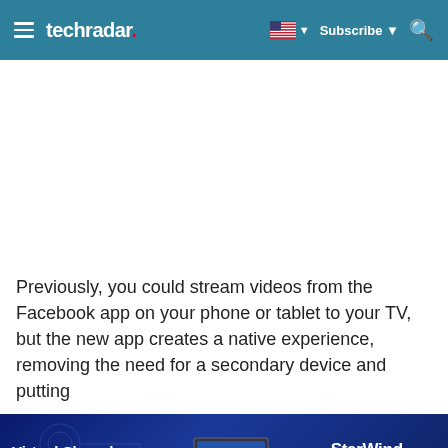techradar
[Figure (photo): Empty white image area (no image loaded)]
Previously, you could stream videos from the Facebook app on your phone or tablet to your TV, but the new app creates a native experience, removing the need for a secondary device and putting
[Figure (infographic): StarWind advertisement banner: Virtual Shared Storage Solution with Transparent Licensing. Shows laptop image. StarWind Hyperconvergence logo. GET FREE TRIAL button.]